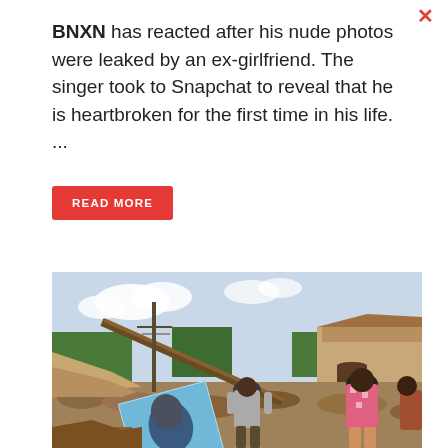BNXN has reacted after his nude photos were leaked by an ex-girlfriend. The singer took to Snapchat to reveal that he is heartbroken for the first time in his life. ...
READ MORE
[Figure (photo): Outdoor scene showing rubble and debris from a collapsed or demolished building. People stand among the ruins. A political campaign banner/poster with a person's face is visible in the foreground. A building with an arched entrance remains standing in the background under a sunny sky.]